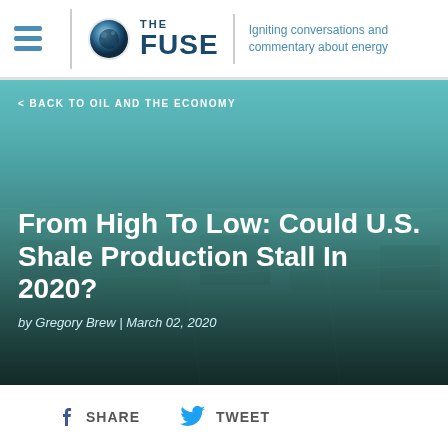THE FUSE | Igniting conversations and commentary about energy
< BACK TO OIL AND THE ECONOMY
From High To Low: Could U.S. Shale Production Stall In 2020?
by Gregory Brew | March 02, 2020
SHARE  TWEET